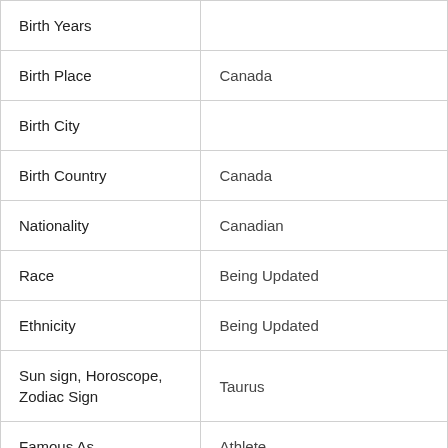| Field | Value |
| --- | --- |
| Birth Years |  |
| Birth Place | Canada |
| Birth City |  |
| Birth Country | Canada |
| Nationality | Canadian |
| Race | Being Updated |
| Ethnicity | Being Updated |
| Sun sign, Horoscope, Zodiac Sign | Taurus |
| Famous As | Athlete |
| Also Known for | Athlete |
| Occupation | Athlete |
| Years active |  |